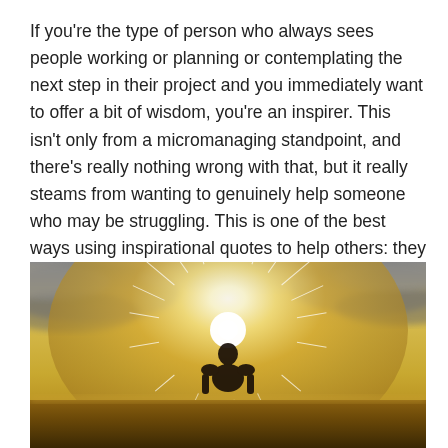If you're the type of person who always sees people working or planning or contemplating the next step in their project and you immediately want to offer a bit of wisdom, you're an inspirer. This isn't only from a micromanaging standpoint, and there's really nothing wrong with that, but it really steams from wanting to genuinely help someone who may be struggling. This is one of the best ways using inspirational quotes to help others: they aren't called inspirational quotes for nothing, they are meant to inspire!
[Figure (photo): A person seen from behind, silhouetted against a bright sunburst breaking through cloudy, golden-toned sky over what appears to be a horizon. The scene has a warm, inspirational mood with golden and grey tones.]